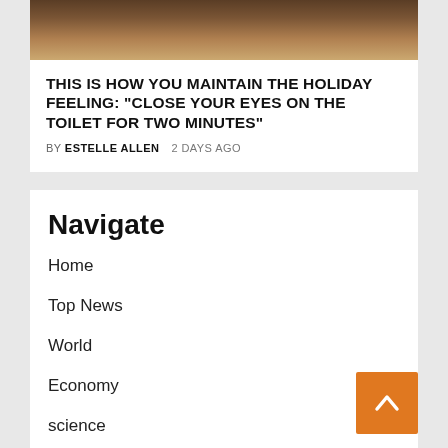[Figure (photo): Close-up photo of beige/tan leather or upholstery surface, dark at top]
THIS IS HOW YOU MAINTAIN THE HOLIDAY FEELING: "CLOSE YOUR EYES ON THE TOILET FOR TWO MINUTES"
BY ESTELLE ALLEN  2 DAYS AGO
Navigate
Home
Top News
World
Economy
science